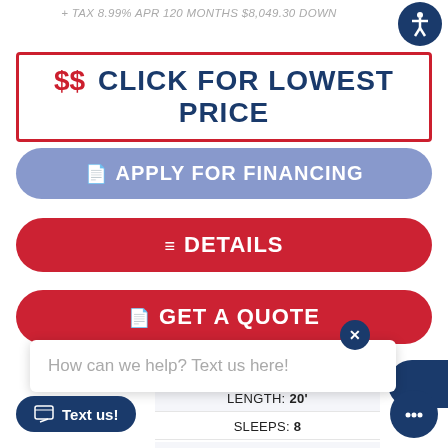+ TAX 8.99% APR 120 MONTHS $8,049.30 DOWN
$$ CLICK FOR LOWEST PRICE
APPLY FOR FINANCING
DETAILS
GET A QUOTE
How can we help? Text us here!
Text us!
LENGTH: 20'
SLEEPS: 8
STOCK #:25260A